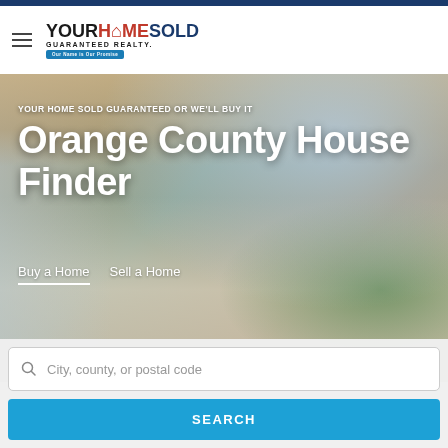[Figure (logo): Your Home Sold Guaranteed Realty logo with hamburger menu icon]
[Figure (photo): Hero background photo of a modern luxury home interior/exterior with large glass sliding doors, warm wood ceiling, and lush green plants]
YOUR HOME SOLD GUARANTEED OR WE'LL BUY IT
Orange County House Finder
Buy a Home    Sell a Home
City, county, or postal code
SEARCH